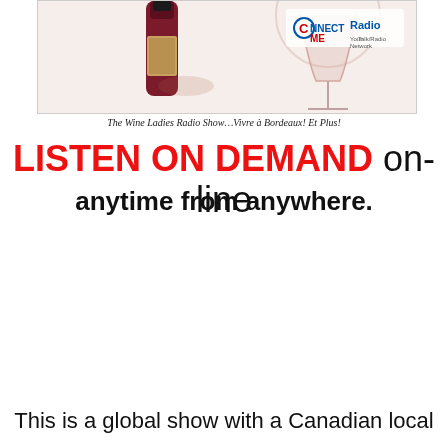[Figure (illustration): Promotional banner image showing a wine bottle and a wine glass with the ConnectMe Radio logo in the top right corner, on a light beige background.]
The Wine Ladies Radio Show…Vivre à Bordeaux! Et Plus!
LISTEN ON DEMAND on-line anytime from anywhere.
This is a global show with a Canadian local